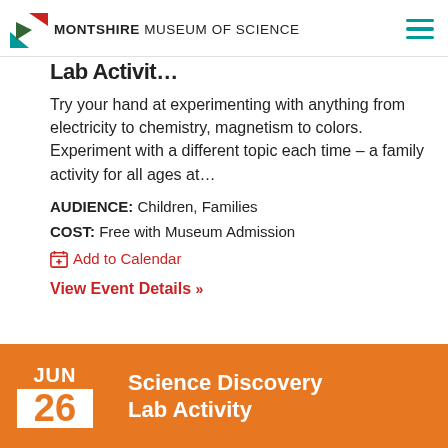MONTSHIRE MUSEUM OF SCIENCE
Lab Activit...
Try your hand at experimenting with anything from electricity to chemistry, magnetism to colors. Experiment with a different topic each time – a family activity for all ages at...
AUDIENCE: Children, Families
COST: Free with Museum Admission
Add to Calendar
View Event Details >>
JUN 26 Science Discovery Lab Activity